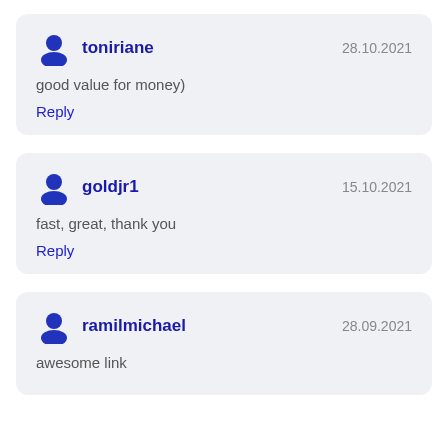toniriane — 28.10.2021 — good value for money) — Reply
goldjr1 — 15.10.2021 — fast, great, thank you — Reply
ramilmichael — 28.09.2021 — awesome link